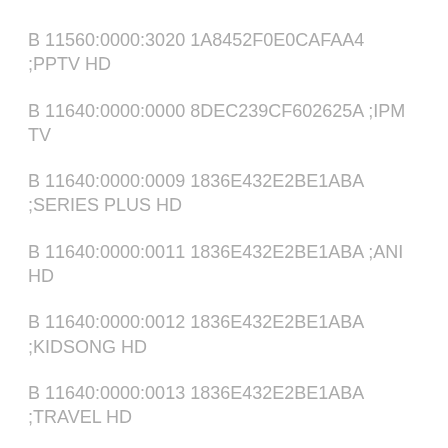B 11560:0000:3020 1A8452F0E0CAFAA4 ;PPTV HD
B 11640:0000:0000 8DEC239CF602625A ;IPM TV
B 11640:0000:0009 1836E432E2BE1ABA ;SERIES PLUS HD
B 11640:0000:0011 1836E432E2BE1ABA ;ANI HD
B 11640:0000:0012 1836E432E2BE1ABA ;KIDSONG HD
B 11640:0000:0013 1836E432E2BE1ABA ;TRAVEL HD
B 11640:0000:0014 1836E432E2BE1ABA ;VARIETY ONE